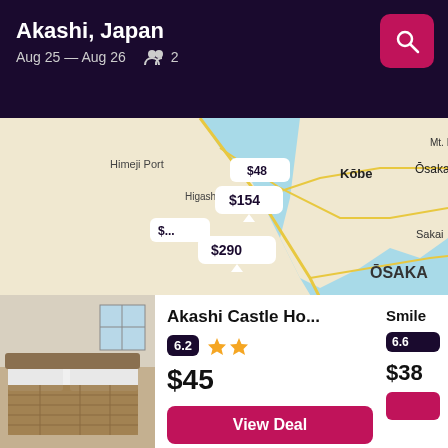Akashi, Japan
Aug 25 — Aug 26   2
[Figure (map): Map showing Akashi, Japan area including Kobe, Osaka, Harimanada, Setonaikai, Himeji Port, Higashi Harima Port, Mt. Rokko, Osaka Bay with hotel price pins $154, $290]
[Figure (photo): Hotel room photo showing bed with brown patterned bedspread]
Akashi Castle Ho...
6.2
$45
View Deal
[Figure (photo): Hotel lobby or dining area photo]
Smile
6.6
$38